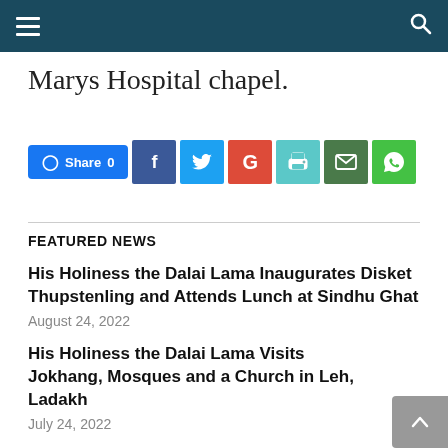Navigation bar with hamburger menu and search icon
Marys Hospital chapel.
[Figure (infographic): Social share buttons row: Facebook Share 0, Facebook (f), Twitter (bird), Google (G), Print, Email, WhatsApp]
FEATURED NEWS
His Holiness the Dalai Lama Inaugurates Disket Thupstenling and Attends Lunch at Sindhu Ghat
August 24, 2022
His Holiness the Dalai Lama Visits Jokhang, Mosques and a Church in Leh, Ladakh
July 24, 2022